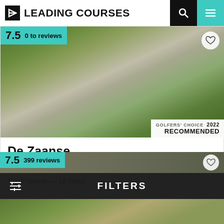LEADING COURSES
[Figure (photo): Golf course photo (blurred/green) for De Zaanse with score badge 7.5 and reviews, and Golfers' Choice 2022 Recommended badge]
De Zaanse
The Netherlands, North Holland — from €46
1 golf course — 18 holes
[Figure (photo): Second golf course listing partial image with score 7.5 and 399 reviews]
7.5  399 reviews
FILTERS